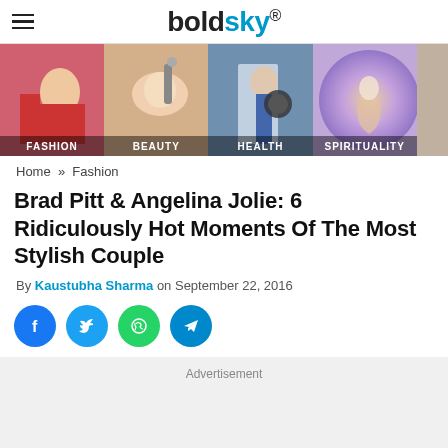boldsky®
[Figure (photo): Navigation strip with four category thumbnails: FASHION (woman in red), BEAUTY (woman receiving facial treatment), HEALTH (person with medical device), SPIRITUALITY (glowing figure)]
Home » Fashion
Brad Pitt & Angelina Jolie: 6 Ridiculously Hot Moments Of The Most Stylish Couple
By Kaustubha Sharma on September 22, 2016
[Figure (infographic): Social share buttons: Facebook (blue circle), Twitter (blue circle), WhatsApp (green circle), Telegram (cyan circle)]
Advertisement